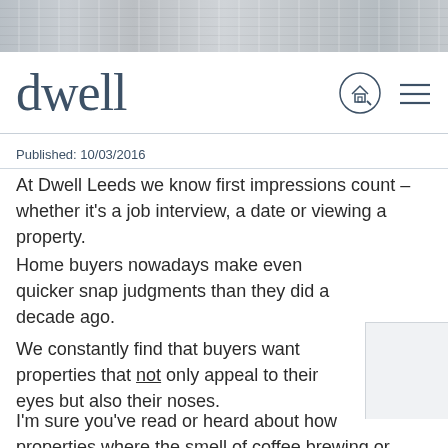[Figure (photo): Top banner photo strip showing wooden planks/surface with light grey-blue tones]
dwell
Published: 10/03/2016
At Dwell Leeds we know first impressions count – whether it's a job interview, a date or viewing a property.
Home buyers nowadays make even quicker snap judgments than they did a decade ago.
We constantly find that buyers want properties that not only appeal to their eyes but also their noses.
I'm sure you've read or heard about how properties where the smell of coffee brewing or freshly baked bread makes viewers swoon.